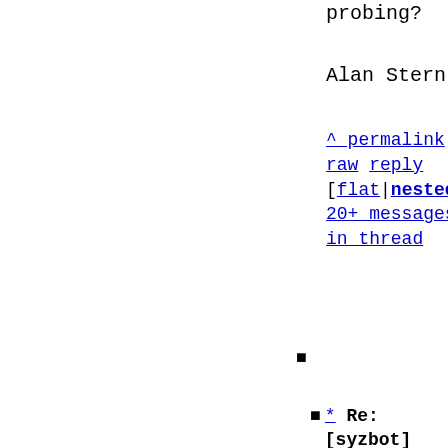probing?
Alan Stern
^ permalink
raw reply
[flat|nested]
20+ messages
in thread
■
* Re: [syzbot] WARNING in hid_submit_
  2021-08-20 14:06
` Alan Stern
@ 2021-08-24 11:53
` Jiri Kosina
  2021-08-24 12:34
`